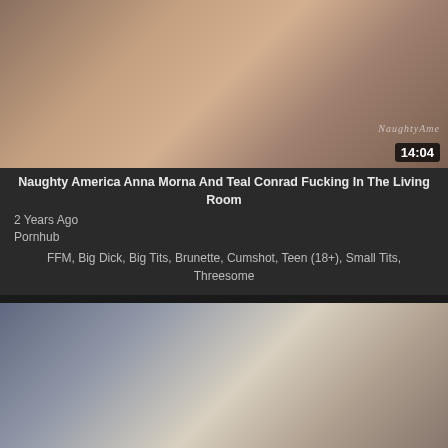[Figure (screenshot): Video thumbnail for Naughty America Anna Morna And Teal Conrad, duration 14:04, with NaughtyAmerica watermark]
Naughty America Anna Morna And Teal Conrad Fucking In The Living Room
2 Years Ago
Pornhub
FFM, Big Dick, Big Tits, Brunette, Cumshot, Teen (18+), Small Tits, Threesome
[Figure (screenshot): Video thumbnail for Dirty Flix - Renata Fox - Selfie Girlfriends, duration 10:25]
Dirty Flix - Renata Fox - Selfie Girlfriends
2 Years Ago
XHamster